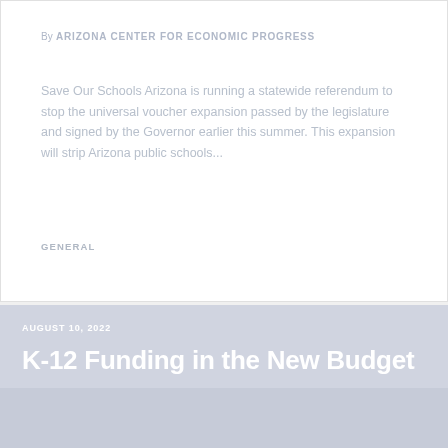By ARIZONA CENTER FOR ECONOMIC PROGRESS
Save Our Schools Arizona is running a statewide referendum to stop the universal voucher expansion passed by the legislature and signed by the Governor earlier this summer. This expansion will strip Arizona public schools...
GENERAL
AUGUST 10, 2022
K-12 Funding in the New Budget